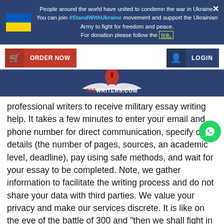People around the world have united to condemn the war in Ukraine. You can join #StandWithUkraine movement and support the Ukrainian Army to fight for freedom and peace. For donation please follow the link.
[Figure (logo): 300Writers.com website navigation bar with ORDER NOW button (red), Spartan helmet logo, and LOGIN button (dark blue)]
professional writers to receive military essay writing help. It takes a few minutes to enter your email and phone number for direct communication, specify order details (the number of pages, sources, an academic level, deadline), pay using safe methods, and wait for your essay to be completed. Note, we gather information to facilitate the writing process and do not share your data with third parties. We value your privacy and make our services discrete. It is like on the eve of the battle of 300 and "then we shall fight in the shade" to offer comprehensive military